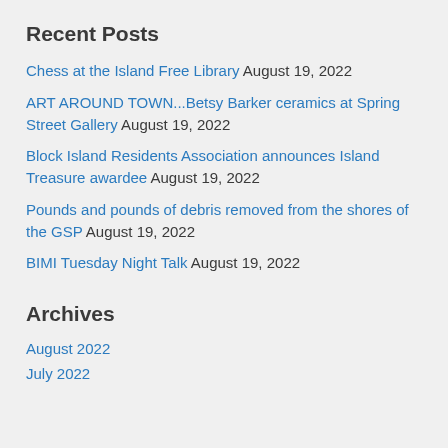Recent Posts
Chess at the Island Free Library August 19, 2022
ART AROUND TOWN...Betsy Barker ceramics at Spring Street Gallery August 19, 2022
Block Island Residents Association announces Island Treasure awardee August 19, 2022
Pounds and pounds of debris removed from the shores of the GSP August 19, 2022
BIMI Tuesday Night Talk August 19, 2022
Archives
August 2022
July 2022